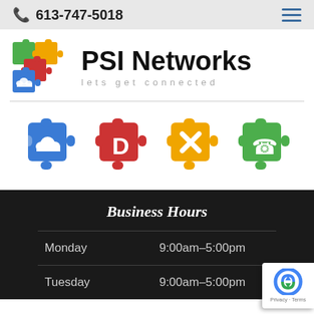613-747-5018
[Figure (logo): PSI Networks logo with colorful puzzle pieces and tagline 'lets get connected']
[Figure (infographic): Four colored puzzle piece icons: blue (cloud), red (document), orange (tools/wrench), green (phone)]
Business Hours
| Monday | 9:00am–5:00pm |
| Tuesday | 9:00am–5:00pm |